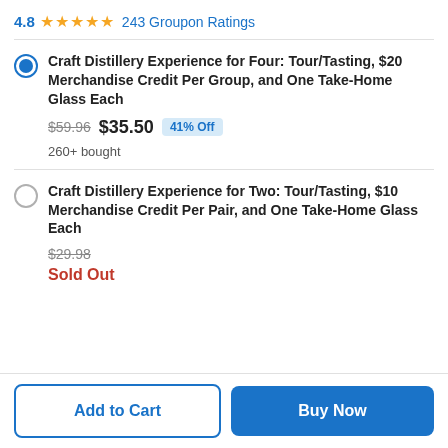4.8 ★★★★★ 243 Groupon Ratings
Craft Distillery Experience for Four: Tour/Tasting, $20 Merchandise Credit Per Group, and One Take-Home Glass Each — $59.96 $35.50 41% Off — 260+ bought
Craft Distillery Experience for Two: Tour/Tasting, $10 Merchandise Credit Per Pair, and One Take-Home Glass Each — $29.98 Sold Out
Add to Cart | Buy Now